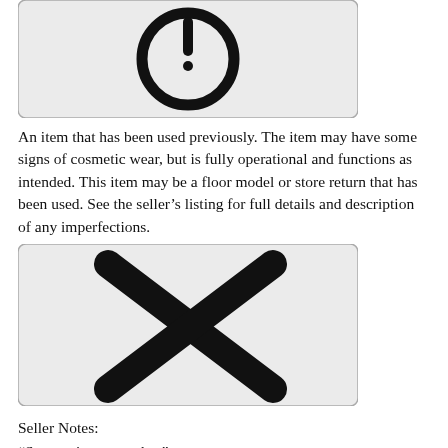[Figure (illustration): Power/info icon: a circle with a vertical line inside (top) and a dot below the line, on a light gray background with a rounded rectangle border.]
An item that has been used previously. The item may have some signs of cosmetic wear, but is fully operational and functions as intended. This item may be a floor model or store return that has been used. See the seller’s listing for full details and description of any imperfections.
[Figure (illustration): An X mark (cross) with thick rounded strokes, on a light gray background with a rounded rectangle border.]
Seller Notes:
“Some minor scratches”
MPN:
5000
Set Includes:
practice bottle